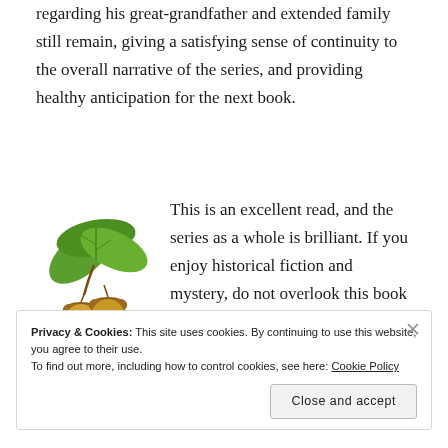regarding his great-grandfather and extended family still remain, giving a satisfying sense of continuity to the overall narrative of the series, and providing healthy anticipation for the next book.
[Figure (illustration): An illustration of oak leaves (green) with two acorns (golden/brown) below them — a decorative emblem.]
This is an excellent read, and the series as a whole is brilliant. If you enjoy historical fiction and mystery, do not overlook this book and its companions in The Forensic Genealogist series.
Privacy & Cookies: This site uses cookies. By continuing to use this website, you agree to their use.
To find out more, including how to control cookies, see here: Cookie Policy